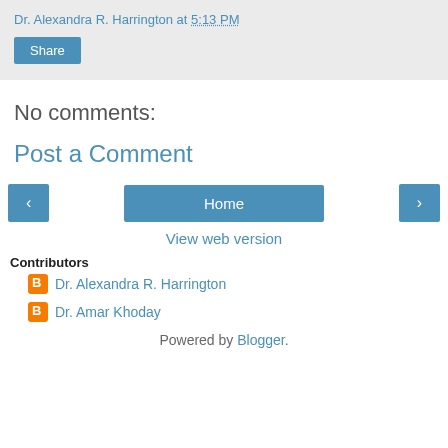Dr. Alexandra R. Harrington at 5:13 PM
Share
No comments:
Post a Comment
< Home >
View web version
Contributors
Dr. Alexandra R. Harrington
Dr. Amar Khoday
Powered by Blogger.